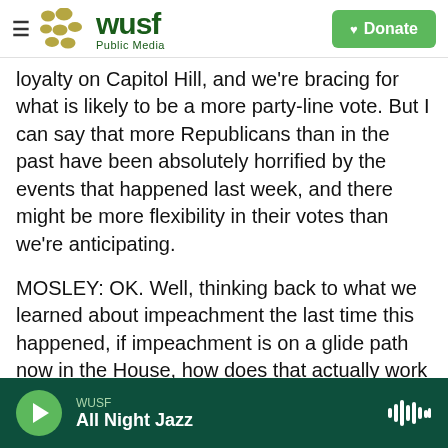WUSF Public Media — Donate
loyalty on Capitol Hill, and we're bracing for what is likely to be a more party-line vote. But I can say that more Republicans than in the past have been absolutely horrified by the events that happened last week, and there might be more flexibility in their votes than we're anticipating.
MOSLEY: OK. Well, thinking back to what we learned about impeachment the last time this happened, if impeachment is on a glide path now in the House, how does that actually work with a possible Senate trial if Trump is leaving office in just eight days?
WUSF — All Night Jazz